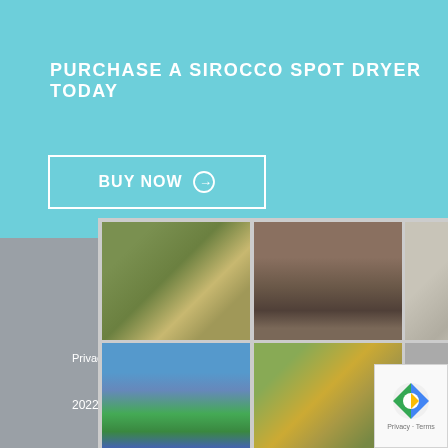PURCHASE A SIROCCO SPOT DRYER TODAY
BUY NOW →
[Figure (screenshot): CAPTCHA image grid with 6 street-view photos: top row shows trees/shadow, rooftop/fence, paved road surface; bottom row shows palm trees with traffic light, parking lot with vehicles and flag, street crosswalk with car]
Privacy P... claimer
2022 © Copyrights dvoyes uk. All rights rese...
VERIFY